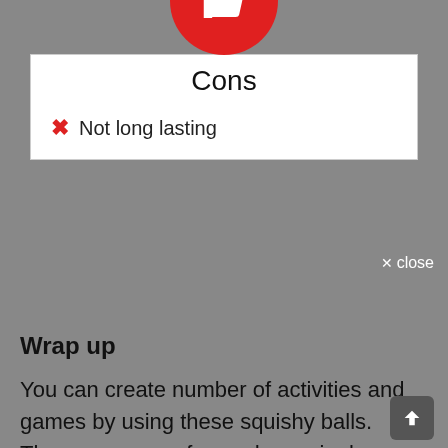[Figure (illustration): Red circle with white thumbs-down icon]
Cons
Not long lasting
Wrap up
You can create number of activities and games by using these squishy balls. These are super fun and amazingly relaxing which makes it a perfect sensory toy gift for your bundle of joy. You can be very creative with these engaging coloured orbeez .I am sure after knowing about these stress buster orbeez